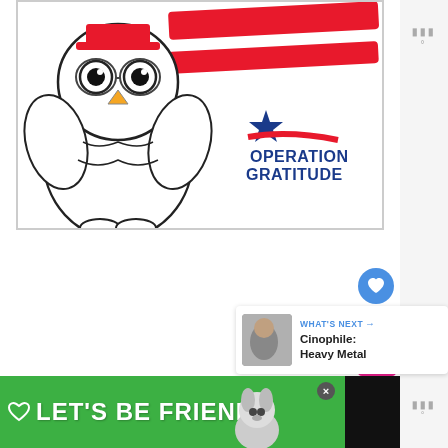[Figure (illustration): Operation Gratitude coloring page illustration: a cute cartoon owl wearing a red hat on the left, and the Operation Gratitude logo (blue star, red swoosh stripes) with bold text 'OPERATION GRATITUDE' on the right. White background with a thin border.]
[Figure (screenshot): UI element: circular blue like/heart button]
1
[Figure (screenshot): What's Next panel: thumbnail of a person, label 'WHAT'S NEXT →', title 'Cinophile: Heavy Metal']
[Figure (screenshot): Advertisement banner on green background: heart icon, text 'LET'S BE FRIENDS', husky dog image on the right, close X button]